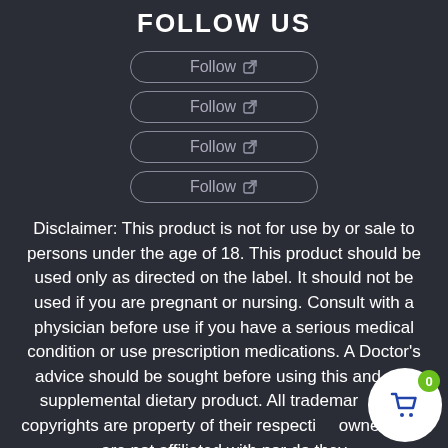FOLLOW US
[Figure (other): Four 'Follow' buttons with external link icons, stacked vertically, center-aligned, with rounded pill-shaped borders in a muted grey on dark background.]
Disclaimer: This product is not for use by or sale to persons under the age of 18. This product should be used only as directed on the label. It should not be used if you are pregnant or nursing. Consult with a physician before use if you have a serious medical condition or use prescription medications. A Doctor's advice should be sought before using this and any supplemental dietary product. All trademarks and copyrights are property of their respective owners and are not affiliated with nor do they